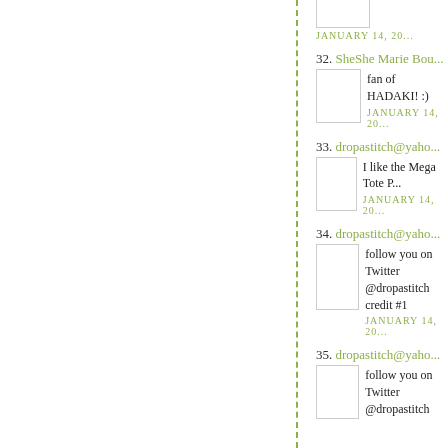JANUARY 14, 20...
32. SheShe Marie Bou... fan of HADAKI! :) JANUARY 14, 20...
33. dropastitch@yaho... I like the Mega Tote P... JANUARY 14, 20...
34. dropastitch@yaho... follow you on Twitter @dropastitch credit #1 JANUARY 14, 20...
35. dropastitch@yaho... follow you on Twitter @dropastitch credit #2